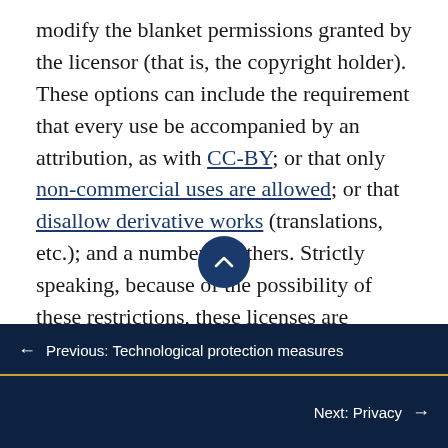modify the blanket permissions granted by the licensor (that is, the copyright holder). These options can include the requirement that every use be accompanied by an attribution, as with CC-BY; or that only non-commercial uses are allowed; or that disallow derivative works (translations, etc.); and a number of others. Strictly speaking, because of the possibility of these restrictions, these licenses are considered by some people not to be open. For others, that interpretation is a little too fundamentalist: these licenses are specifically designed to make copyright-protected content more open, even if that openness may have
← Previous: Technological protection measures
Next: Privacy →